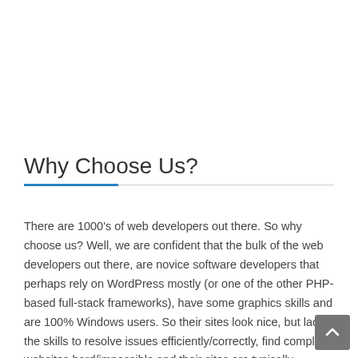Why Choose Us?
There are 1000's of web developers out there. So why choose us? Well, we are confident that the bulk of the web developers out there, are novice software developers that perhaps rely on WordPress mostly (or one of the other PHP-based full-stack frameworks), have some graphics skills and are 100% Windows users. So their sites look nice, but lack the skills to resolve issues efficiently/correctly, find complex websites hard/impossible and their sites are typically vulnerable to hackers exploits and defacing.
We are also confident that most backend web developers can only write